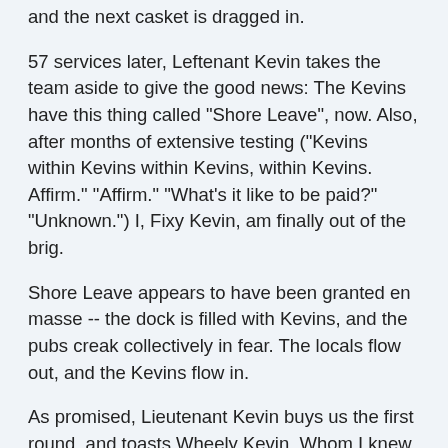and the next casket is dragged in.
57 services later, Leftenant Kevin takes the team aside to give the good news: The Kevins have this thing called "Shore Leave", now. Also, after months of extensive testing ("Kevins within Kevins within Kevins, within Kevins. Affirm." "Affirm." "What's it like to be paid?" "Unknown.") I, Fixy Kevin, am finally out of the brig.
Shore Leave appears to have been granted en masse -- the dock is filled with Kevins, and the pubs creak collectively in fear. The locals flow out, and the Kevins flow in.
As promised, Lieutenant Kevin buys us the first round, and toasts Wheely Kevin. Whom I knew from Technical College. I put him in the wheelchair during the exam for my degree, sure, but I liked to think we were close.
Our clique (Me, Healy Kevin, Smarty Kevin, and Grizzly Kevin) are talking about intoxicating substances (Amasec,